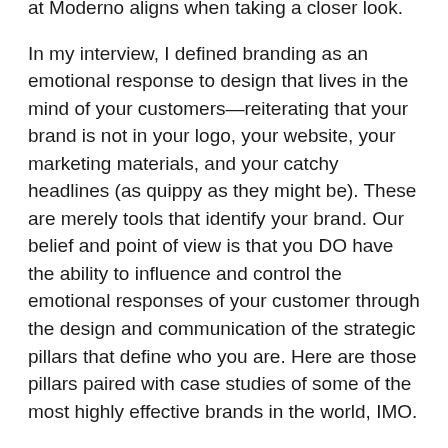at Moderno aligns when taking a closer look.
In my interview, I defined branding as an emotional response to design that lives in the mind of your customers—reiterating that your brand is not in your logo, your website, your marketing materials, and your catchy headlines (as quippy as they might be). These are merely tools that identify your brand. Our belief and point of view is that you DO have the ability to influence and control the emotional responses of your customer through the design and communication of the strategic pillars that define who you are. Here are those pillars paired with case studies of some of the most highly effective brands in the world, IMO.
Position– We define this as the ONLY ONLY